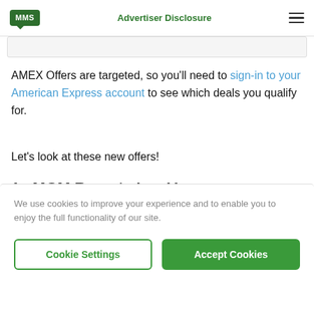MMS | Advertiser Disclosure
AMEX Offers are targeted, so you'll need to sign-in to your American Express account to see which deals you qualify for.
Let's look at these new offers!
1.  MGM Resorts Las Vegas
• Spend $500+ on room rate and room
We use cookies to improve your experience and to enable you to enjoy the full functionality of our site.